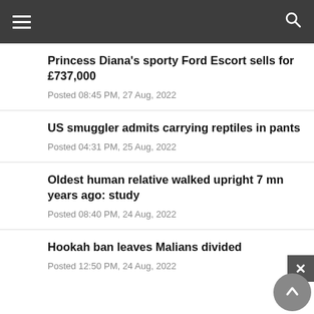Princess Diana's sporty Ford Escort sells for £737,000
Posted 08:45 PM, 27 Aug, 2022
US smuggler admits carrying reptiles in pants
Posted 04:31 PM, 25 Aug, 2022
Oldest human relative walked upright 7 mn years ago: study
Posted 08:40 PM, 24 Aug, 2022
Hookah ban leaves Malians divided
Posted 12:50 PM, 24 Aug, 2022